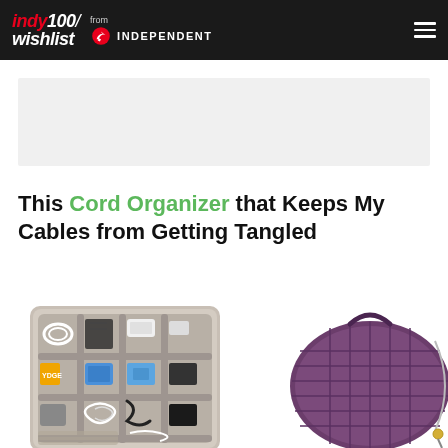indy100/wishlist from INDEPENDENT
[Figure (other): Advertisement placeholder — light grey rectangle]
This Cord Organizer that Keeps My Cables from Getting Tangled
[Figure (photo): Photo of a grey cable/cord organizer case with elastic straps holding various cables, USB drives, and small accessories, alongside a purple quilted travel bag/luggage piece]